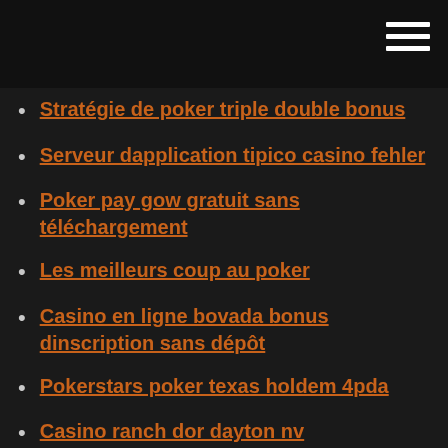Stratégie de poker triple double bonus
Serveur dapplication tipico casino fehler
Poker pay gow gratuit sans téléchargement
Les meilleurs coup au poker
Casino en ligne bovada bonus dinscription sans dépôt
Pokerstars poker texas holdem 4pda
Casino ranch dor dayton nv
Crédit gratuit de casino en ligne malaisie aucun dépôt requis
Poker teksas holdem wyspa gier
Crédit gratuit de casino en ligne malaisie aucun dépôt requis
Comment augmenter vos chances de jouer aux